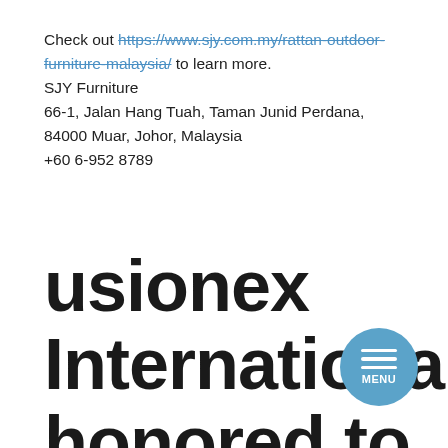Check out https://www.sjy.com.my/rattan-outdoor-furniture-malaysia/ to learn more.
SJY Furniture
66-1, Jalan Hang Tuah, Taman Junid Perdana, 84000 Muar, Johor, Malaysia
+60 6-952 8789
usionex International honored to to host the Chi...